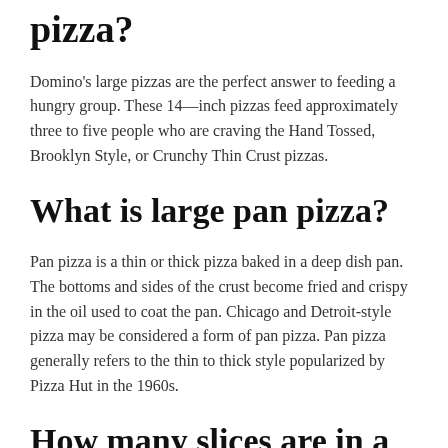pizza?
Domino's large pizzas are the perfect answer to feeding a hungry group. These 14—inch pizzas feed approximately three to five people who are craving the Hand Tossed, Brooklyn Style, or Crunchy Thin Crust pizzas.
What is large pan pizza?
Pan pizza is a thin or thick pizza baked in a deep dish pan. The bottoms and sides of the crust become fried and crispy in the oil used to coat the pan. Chicago and Detroit-style pizza may be considered a form of pan pizza. Pan pizza generally refers to the thin to thick style popularized by Pizza Hut in the 1960s.
How many slices are in a large Little Caesars Pizza?